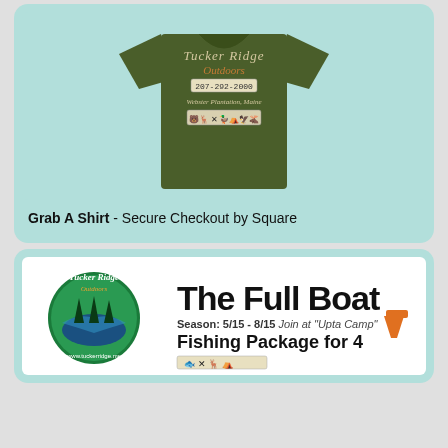[Figure (photo): Tucker Ridge Outdoors olive green t-shirt with logo, phone number, location text, and outdoor activity icons on the chest]
Grab A Shirt - Secure Checkout by Square
[Figure (logo): Tucker Ridge Outdoors 'The Full Boat' fishing package promotional banner. Season: 5/15 - 8/15. Join at 'Upta Camp'. Fishing Package for 4.]